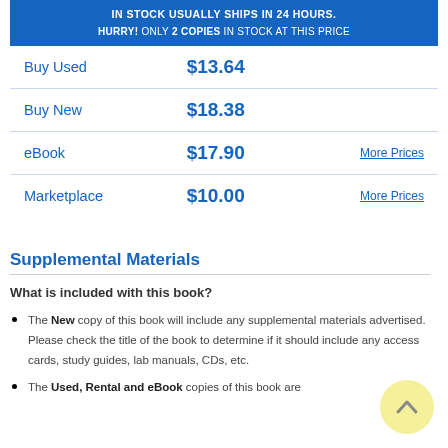IN STOCK USUALLY SHIPS IN 24 HOURS.
HURRY! ONLY 2 COPIES IN STOCK AT THIS PRICE
|  | Price |  |
| --- | --- | --- |
| Buy Used | $13.64 |  |
| Buy New | $18.38 |  |
| eBook | $17.90 | More Prices |
| Marketplace | $10.00 | More Prices |
Supplemental Materials
What is included with this book?
The New copy of this book will include any supplemental materials advertised. Please check the title of the book to determine if it should include any access cards, study guides, lab manuals, CDs, etc.
The Used, Rental and eBook copies of this book are
[Figure (illustration): Yellow circular back-to-top button with an upward-pointing chevron arrow]